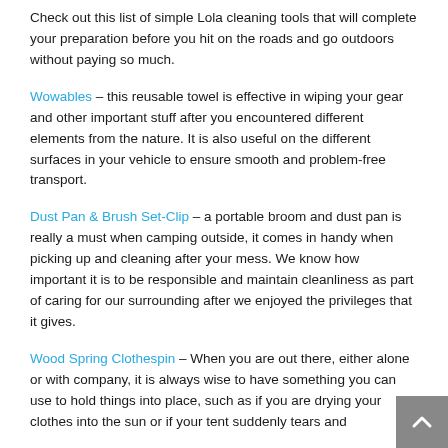Check out this list of simple Lola cleaning tools that will complete your preparation before you hit on the roads and go outdoors without paying so much.
Wowables – this reusable towel is effective in wiping your gear and other important stuff after you encountered different elements from the nature. It is also useful on the different surfaces in your vehicle to ensure smooth and problem-free transport.
Dust Pan & Brush Set-Clip – a portable broom and dust pan is really a must when camping outside, it comes in handy when picking up and cleaning after your mess. We know how important it is to be responsible and maintain cleanliness as part of caring for our surrounding after we enjoyed the privileges that it gives.
Wood Spring Clothespin – When you are out there, either alone or with company, it is always wise to have something you can use to hold things into place, such as if you are drying your clothes into the sun or if your tent suddenly tears and